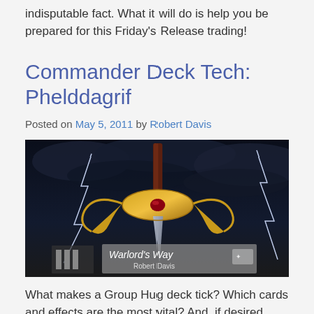indisputable fact. What it will do is help you be prepared for this Friday's Release trading!
Commander Deck Tech: Phelddagrif
Posted on May 5, 2011 by Robert Davis
[Figure (illustration): Fantasy illustration of a golden sword hilt with curved prongs against a dark stormy sky with lightning. Overlay text reads 'Warlord's Way' and 'Robert Davis' with a logo.]
What makes a Group Hug deck tick? Which cards and effects are the most vital? And, if desired, how do you